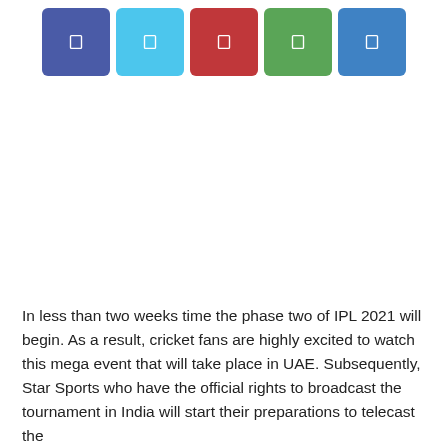[Figure (other): Row of five social media share buttons: Facebook (dark blue), Twitter (light blue), Pinterest (red), WhatsApp (green), Telegram (blue), each showing a small white icon]
In less than two weeks time the phase two of IPL 2021 will begin. As a result, cricket fans are highly excited to watch this mega event that will take place in UAE. Subsequently, Star Sports who have the official rights to broadcast the tournament in India will start their preparations to telecast the